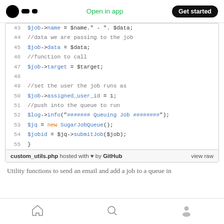Medium app header: logo, Open in app, Get started
[Figure (screenshot): Code block showing PHP code lines 43-55 with syntax highlighting, hosted on GitHub Gist]
Utility functions to send an email and add a job to a queue in
Home, Search, Profile navigation icons